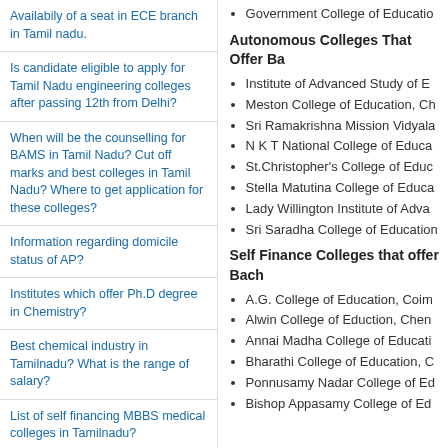Availabily of a seat in ECE branch in Tamil nadu.
Is candidate eligible to apply for Tamil Nadu engineering colleges after passing 12th from Delhi?
When will be the counselling for BAMS in Tamil Nadu? Cut off marks and best colleges in Tamil Nadu? Where to get application for these colleges?
Information regarding domicile status of AP?
Institutes which offer Ph.D degree in Chemistry?
Best chemical industry in Tamilnadu? What is the range of salary?
List of self financing MBBS medical colleges in Tamilnadu?
List of the top colleges offering MBA course with airline and airport management stream in Tamil Nadu?
Government College of Education
Autonomous Colleges That Offer Ba
Institute of Advanced Study of E
Meston College of Education, Ch
Sri Ramakrishna Mission Vidyala
N K T National College of Educa
St.Christopher's College of Educ
Stella Matutina College of Educa
Lady Willington Institute of Adva
Sri Saradha College of Education
Self Finance Colleges that offer Bach
A.G. College of Education, Coim
Alwin College of Eduction, Chen
Annai Madha College of Educati
Bharathi College of Education, C
Ponnusamy Nadar College of Ed
Bishop Appasamy College of Ed